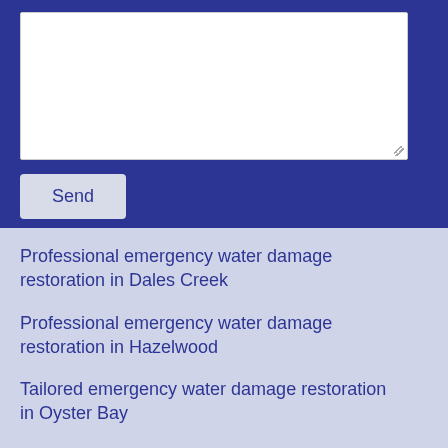[Figure (screenshot): A textarea input box with white background inside a dark blue form section]
Send
Professional emergency water damage restoration in Dales Creek
Professional emergency water damage restoration in Hazelwood
Tailored emergency water damage restoration in Oyster Bay